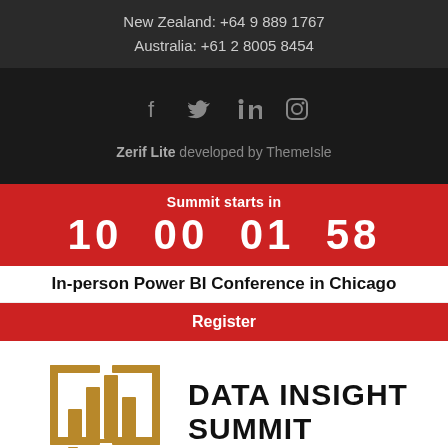New Zealand: +64 9 889 1767
Australia: +61 2 8005 8454
[Figure (illustration): Social media icons: Facebook, Twitter, LinkedIn, Instagram in gray on dark background]
Zerif Lite developed by ThemeIsle
Summit starts in
10  00  01  58
In-person Power BI Conference in Chicago
Register
[Figure (logo): Data Insight Summit logo: gold bar chart icon with text DATA INSIGHT SUMMIT]